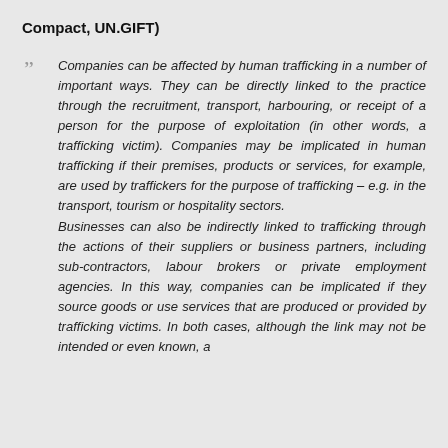Compact, UN.GIFT)
Companies can be affected by human trafficking in a number of important ways. They can be directly linked to the practice through the recruitment, transport, harbouring, or receipt of a person for the purpose of exploitation (in other words, a trafficking victim). Companies may be implicated in human trafficking if their premises, products or services, for example, are used by traffickers for the purpose of trafficking – e.g. in the transport, tourism or hospitality sectors. Businesses can also be indirectly linked to trafficking through the actions of their suppliers or business partners, including sub-contractors, labour brokers or private employment agencies. In this way, companies can be implicated if they source goods or use services that are produced or provided by trafficking victims. In both cases, although the link may not be intended or even known, a